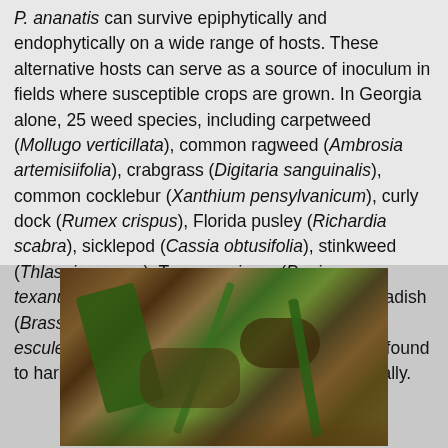P. ananatis can survive epiphytically and endophytically on a wide range of hosts. These alternative hosts can serve as a source of inoculum in fields where susceptible crops are grown. In Georgia alone, 25 weed species, including carpetweed (Mollugo verticillata), common ragweed (Ambrosia artemisiifolia), crabgrass (Digitaria sanguinalis), common cocklebur (Xanthium pensylvanicum), curly dock (Rumex crispus), Florida pusley (Richardia scabra), sicklepod (Cassia obtusifolia), stinkweed (Thlaspi arvense), Texas panicum (Panicum texanum), vaseygrass (Paspalum urvillei), wild radish (Brassica spp.), yellow nutsedge (Cyperus esculentus) and other multiple crop plants were found to harbor P. ananatis populations asymptomatically.
[Figure (photo): Close-up photograph of plant disease symptoms showing dark brown/black lesions on plant material with some green stems visible against a soil background.]